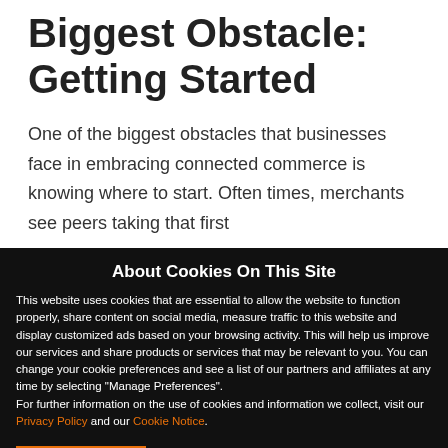Biggest Obstacle: Getting Started
One of the biggest obstacles that businesses face in embracing connected commerce is knowing where to start. Often times, merchants see peers taking that first
About Cookies On This Site
This website uses cookies that are essential to allow the website to function properly, share content on social media, measure traffic to this website and display customized ads based on your browsing activity. This will help us improve our services and share products or services that may be relevant to you. You can change your cookie preferences and see a list of our partners and affiliates at any time by selecting "Manage Preferences". For further information on the use of cookies and information we collect, visit our Privacy Policy and our Cookie Notice.
I Understand
Manage Preferences